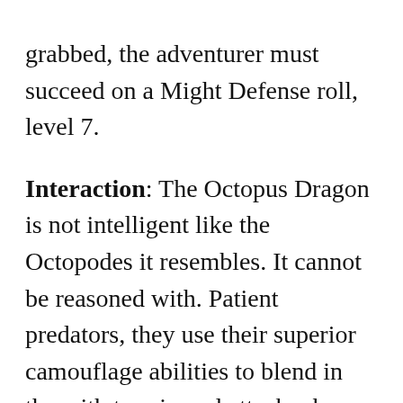grabbed, the adventurer must succeed on a Might Defense roll, level 7.
Interaction: The Octopus Dragon is not intelligent like the Octopodes it resembles. It cannot be reasoned with. Patient predators, they use their superior camouflage abilities to blend in the with terrain and attack when prey draws near.
Use: When a party is investigating something on the sea floor or in a coral reef, the Octopus Dragon might be laying in wait. They are drawn to numenera, or semi-precious jewels, and will kill to add them to their hoard.
Loot: Like most dragons, the Octopus Dragon keeps a hoard, usually in a nearby cave. While typically composed of pearls and shells,